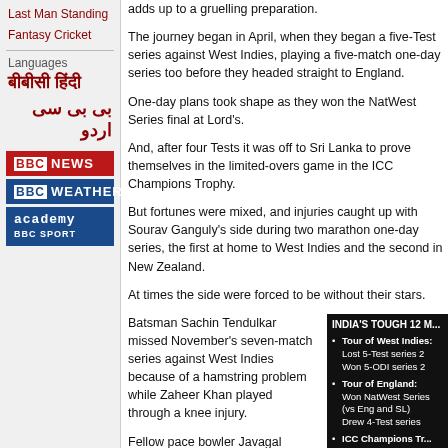Last Man Standing
Fantasy Cricket
Languages
बीबीसी हिंदी
بی بی سی اردو
[Figure (logo): BBC NEWS red button logo]
[Figure (logo): BBC WEATHER blue button logo]
[Figure (logo): BBC Academy Sport blue button logo]
adds up to a gruelling preparation.
The journey began in April, when they began a five-Test series against West Indies, playing a five-match one-day series too before they headed straight to England.
One-day plans took shape as they won the NatWest Series final at Lord's.
And, after four Tests it was off to Sri Lanka to prove themselves in the limited-overs game in the ICC Champions Trophy.
But fortunes were mixed, and injuries caught up with Sourav Ganguly's side during two marathon one-day series, the first at home to West Indies and the second in New Zealand.
At times the side were forced to be without their stars.
Batsman Sachin Tendulkar missed November's seven-match series against West Indies because of a hamstring problem while Zaheer Khan played through a knee injury.
Fellow pace bowler Javagal Srinath had some time at home when he was dropped from the one-day side after announcing his retirement from Test cricket.
But a shock recall in Colombo,
Tour of West Indies: Lost 5-Test series 2, Won 5-ODI series 2
Tour of England: Won NatWest Series (vs Eng and SL), Drew 4-Test series
ICC Champions Trophy: Shared title with SL, Rain final (5 matches)
West Indies tour: Won 3-Test series 2, Lost 7-ODI series 4
Tour of New Zealand: Lost 2-Test series